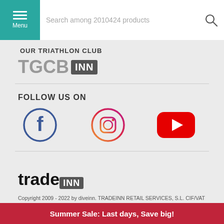Menu | Search among 2010424 products
OUR TRIATHLON CLUB
[Figure (logo): TGCB INN logo in grey and dark text]
FOLLOW US ON
[Figure (logo): Facebook, Instagram, and YouTube social media icons]
[Figure (logo): tradeINN logo]
Copyright 2009 - 2022 by diveinn. TRADEINN RETAIL SERVICES, S.L. CIF/VAT ES-B-17527524, C/ Pirineus, 9, 17460 Celrà (Girona), Spain. Terms & Conditions | Affiliate programs | Cookies policy | Privacy policy | Legal notice | Privacy policy social networks
Summer Sale: Last days, Save big!